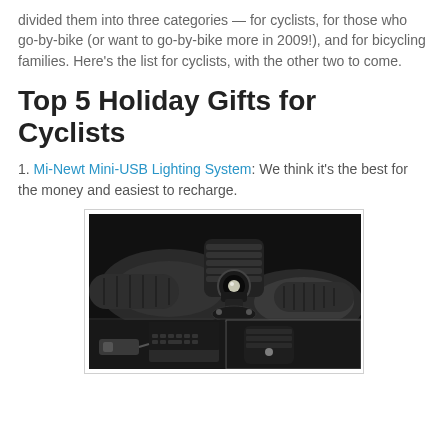divided them into three categories — for cyclists, for those who go-by-bike (or want to go-by-bike more in 2009!), and for bicycling families. Here's the list for cyclists, with the other two to come.
Top 5 Holiday Gifts for Cyclists
1. Mi-Newt Mini-USB Lighting System: We think it's the best for the money and easiest to recharge.
[Figure (photo): Photo of a Mi-Newt Mini-USB bicycle lighting system mounted on a handlebar, shown in black and white. Includes two inset images: one showing the USB charging device connected to a laptop, and another showing the light unit from a different angle.]